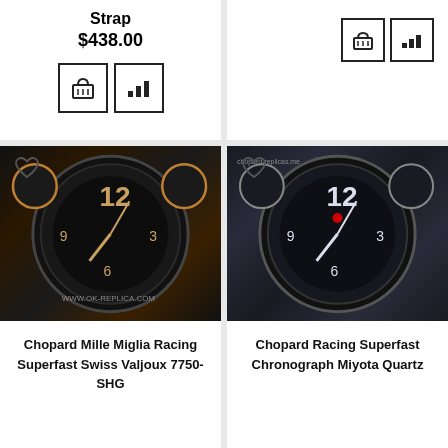Strap
$438.00
[Figure (screenshot): Add to cart button icon (basket)]
[Figure (screenshot): Compare button icon (bar chart)]
[Figure (screenshot): Add to cart button icon (basket) - right column]
[Figure (screenshot): Compare button icon (bar chart) - right column]
[Figure (photo): Chopard Mille Miglia Racing Superfast Swiss Valjoux 7750-SHG watch closeup, dark chronograph face with rose gold accents]
Chopard Mille Miglia Racing Superfast Swiss Valjoux 7750-SHG
[Figure (photo): Chopard Racing Superfast Chronograph Miyota Quartz watch closeup, dark chronograph face with silver/steel case and black rubber strap]
Chopard Racing Superfast Chronograph Miyota Quartz